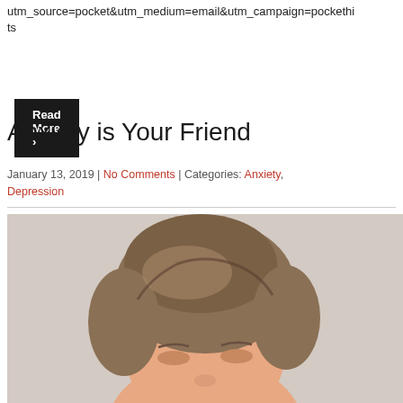utm_source=pocket&utm_medium=email&utm_campaign=pockethits
Read More ›
Anxiety is Your Friend
January 13, 2019 | No Comments | Categories: Anxiety, Depression
[Figure (photo): Close-up photo of a person's face with short blonde/brown hair, looking slightly upward, against a light textured background.]